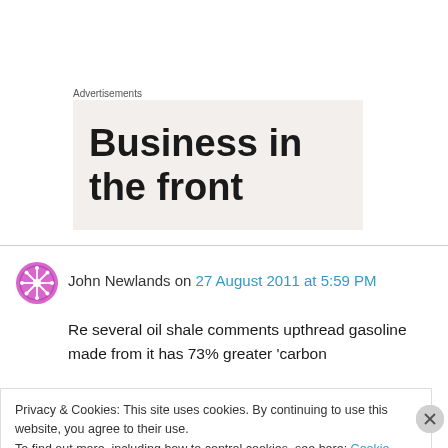Advertisements
[Figure (other): Advertisement banner showing partial text 'Business in the front']
John Newlands on 27 August 2011 at 5:59 PM
Re several oil shale comments upthread gasoline made from it has 73% greater 'carbon
Privacy & Cookies: This site uses cookies. By continuing to use this website, you agree to their use.
To find out more, including how to control cookies, see here: Cookie Policy
Close and accept